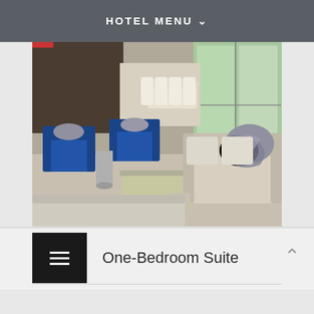HOTEL MENU
[Figure (photo): Hotel one-bedroom suite interior showing blue armchairs, beige sofa with decorative throw, coffee table, and large windows with outdoor view]
One-Bedroom Suite